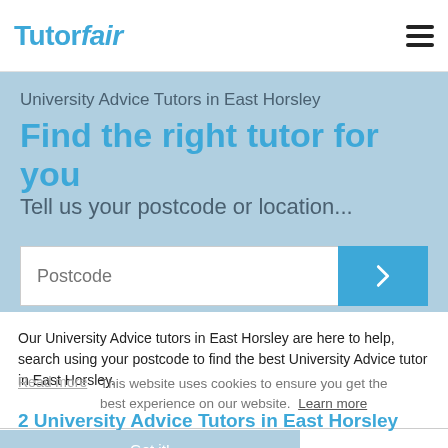TutorFair
University Advice Tutors in East Horsley
Find the right tutor for you
Tell us your postcode or location...
Postcode
Our University Advice tutors in East Horsley are here to help, search using your postcode to find the best University Advice tutor in East Horsley.
Read more
This website uses cookies to ensure you get the best experience on our website. Learn more
2 University Advice Tutors in East Horsley
Got it!
Anand V